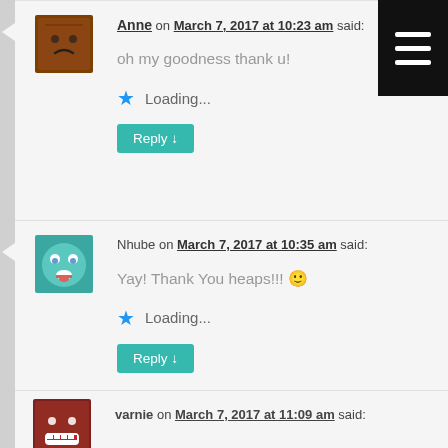[Figure (other): Black menu button with three horizontal white lines, top right corner]
[Figure (illustration): User avatar - brown/reddish square avatar icon with sad face expression]
Anne on March 7, 2017 at 10:23 am said:
oh my goodness thank u!
Loading...
Reply ↓
[Figure (illustration): User avatar - teal/blue square avatar icon with cartoon face expression]
Nhube on March 7, 2017 at 10:35 am said:
Yay! Thank You heaps!!! 🙂
Loading...
Reply ↓
[Figure (illustration): User avatar - dark red/brown square avatar icon with grinning face expression]
varnie on March 7, 2017 at 11:09 am said: